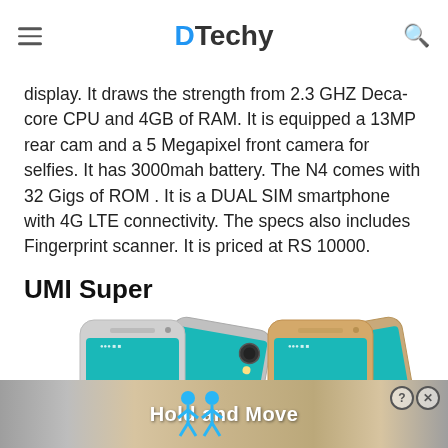DTechy
display. It draws the strength from 2.3 GHZ Deca-core CPU and 4GB of RAM. It is equipped a 13MP rear cam and a 5 Megapixel front camera for selfies. It has 3000mah battery. The N4 comes with 32 Gigs of ROM . It is a DUAL SIM smartphone with 4G LTE connectivity. The specs also includes Fingerprint scanner. It is priced at RS 10000.
UMI Super
[Figure (photo): Two UMI Super smartphones side by side — left one in silver/gray color showing front and back, right one in gold color showing front and back. Both display a teal/cyan home screen with time 12:00 visible.]
[Figure (screenshot): Advertisement banner at the bottom showing blue cartoon figures and text 'Hold and Move' with a close button (? and X icons) on the right.]